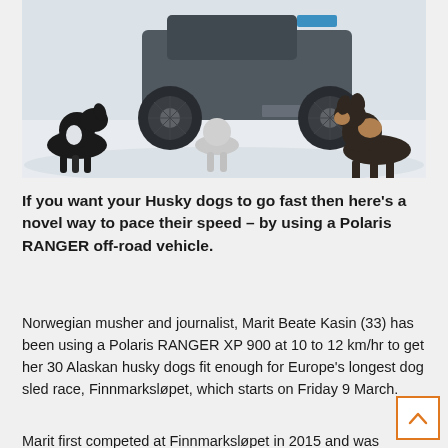[Figure (photo): Photo of Husky dogs near a Polaris RANGER off-road vehicle in a snowy outdoor setting. Multiple black and white and tan Alaskan husky dogs are visible around the vehicle wheels.]
If you want your Husky dogs to go fast then here's a novel way to pace their speed – by using a Polaris RANGER off-road vehicle.
Norwegian musher and journalist, Marit Beate Kasin (33) has been using a Polaris RANGER XP 900 at 10 to 12 km/hr to get her 30 Alaskan husky dogs fit enough for Europe's longest dog sled race, Finnmarksløpet, which starts on Friday 9 March.
Marit first competed at Finnmarksløpet in 2015 and was